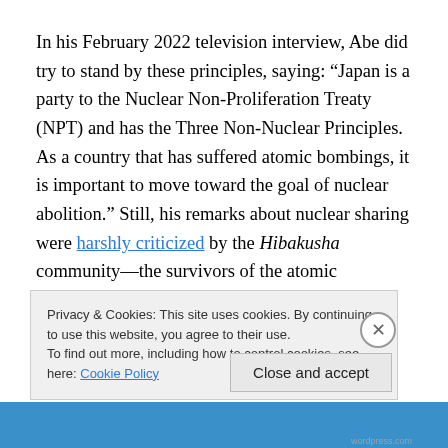In his February 2022 television interview, Abe did try to stand by these principles, saying: “Japan is a party to the Nuclear Non-Proliferation Treaty (NPT) and has the Three Non-Nuclear Principles. As a country that has suffered atomic bombings, it is important to move toward the goal of nuclear abolition.” Still, his remarks about nuclear sharing were harshly criticized by the Hibakusha community—the survivors of the atomic bombings of Hiroshima and Nagasaki in August 1945.
Privacy & Cookies: This site uses cookies. By continuing to use this website, you agree to their use.
To find out more, including how to control cookies, see here: Cookie Policy